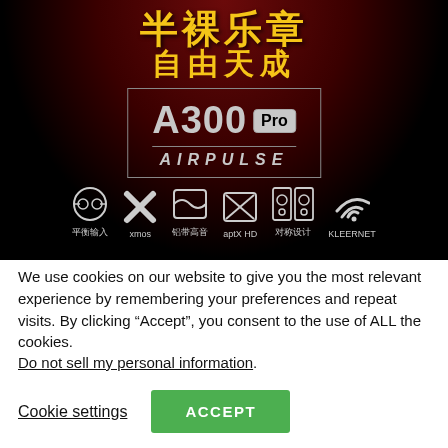[Figure (photo): Product advertisement image for Airpulse A300 Pro speaker system on dark red/black background with Chinese text '自由天成' and feature icons including 平衡输入, xmos, 铝带高音, aptX HD, 对称设计, KLEERNET]
We use cookies on our website to give you the most relevant experience by remembering your preferences and repeat visits. By clicking “Accept”, you consent to the use of ALL the cookies.
Do not sell my personal information.
Cookie settings
ACCEPT